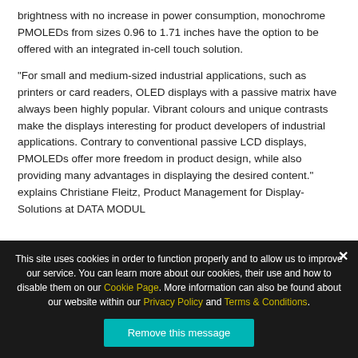Hyperbright: science displays are characterised by a 212 1015 higher brightness with no increase in power consumption, monochrome PMOLEDs from sizes 0.96 to 1.71 inches have the option to be offered with an integrated in-cell touch solution.
“For small and medium-sized industrial applications, such as printers or card readers, OLED displays with a passive matrix have always been highly popular. Vibrant colours and unique contrasts make the displays interesting for product developers of industrial applications. Contrary to conventional passive LCD displays, PMOLEDs offer more freedom in product design, while also providing many advantages in displaying the desired content.” explains Christiane Fleitz, Product Management for Display-Solutions at DATA MODUL
This site uses cookies in order to function properly and to allow us to improve our service. You can learn more about our cookies, their use and how to disable them on our Cookie Page. More information can also be found about our website within our Privacy Policy and Terms & Conditions.
Remove this message